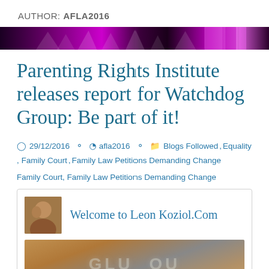AUTHOR: AFLA2016
[Figure (photo): Decorative banner with purple and magenta tones and abstract pattern]
Parenting Rights Institute releases report for Watchdog Group: Be part of it!
29/12/2016   afla2016   Blogs Followed, Equality, Family Court, Family Law Petitions Demanding Change
[Figure (screenshot): Embedded blog card showing 'Welcome to Leon Koziol.Com' with avatar photo and blurred background image below]